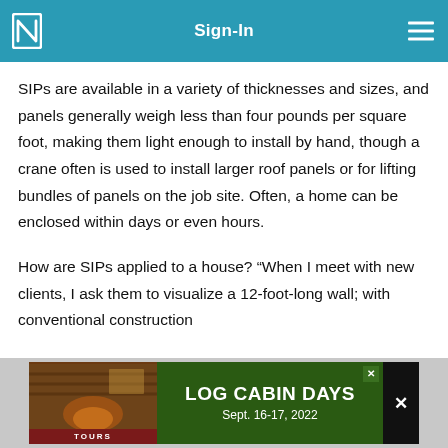Sign-In
SIPs are available in a variety of thicknesses and sizes, and panels generally weigh less than four pounds per square foot, making them light enough to install by hand, though a crane often is used to install larger roof panels or for lifting bundles of panels on the job site. Often, a home can be enclosed within days or even hours.
How are SIPs applied to a house? “When I meet with new clients, I ask them to visualize a 12-foot-long wall; with conventional construction
[Figure (infographic): Advertisement banner for Log Cabin Days Tours, Sept. 16-17, 2022, with a photo of a log cabin interior on the left and green background with white text on the right. An X close button is on the far right.]